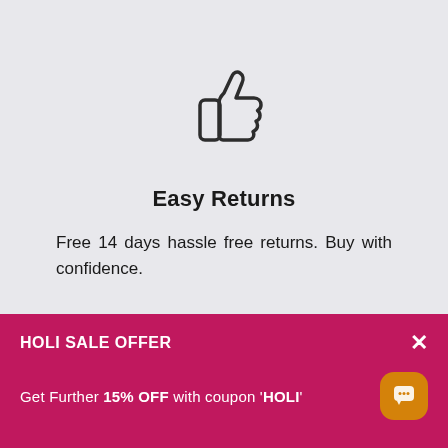[Figure (illustration): Thumbs up icon outline in dark gray on light gray background]
Easy Returns
Free 14 days hassle free returns. Buy with confidence.
HOLI SALE OFFER
Get Further 15% OFF with coupon 'HOLI'
EMI